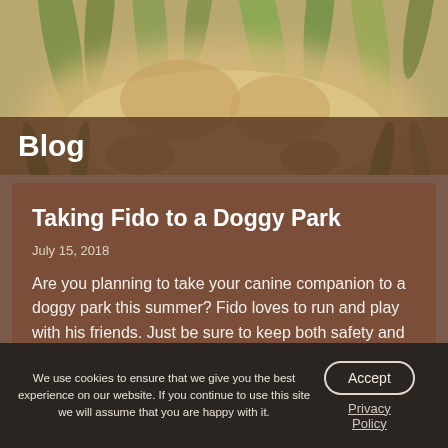[Figure (photo): Blurry close-up photo of a dog or cat in grass, with green blades of grass visible and a warm tan/cream furry animal in the foreground]
Blog
Taking Fido to a Doggy Park
July 15, 2018
Are you planning to take your canine companion to a doggy park this summer? Fido loves to run and play with his friends. Just be sure to keep both safety and petiquette in mind. A London, ON vet discusses taking your pooch to the park in this article.
We use cookies to ensure that we give you the best experience on our website. If you continue to use this site we will assume that you are happy with it.
Accept
Privacy Policy